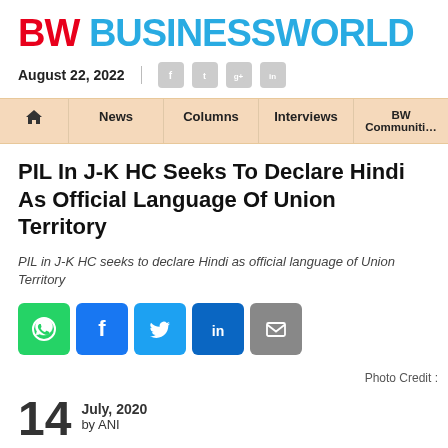BW BUSINESSWORLD
August 22, 2022
PIL In J-K HC Seeks To Declare Hindi As Official Language Of Union Territory
PIL in J-K HC seeks to declare Hindi as official language of Union Territory
[Figure (other): Social share buttons: WhatsApp, Facebook, Twitter, LinkedIn, Email]
Photo Credit :
14 July, 2020 by ANI